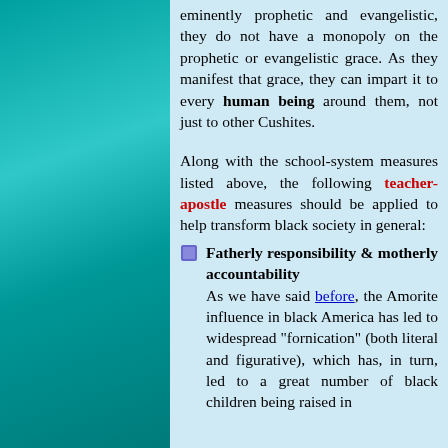eminently prophetic and evangelistic, they do not have a monopoly on the prophetic or evangelistic grace. As they manifest that grace, they can impart it to every human being around them, not just to other Cushites.
Along with the school-system measures listed above, the following teacher-apostle measures should be applied to help transform black society in general:
Fatherly responsibility & motherly accountability As we have said before, the Amorite influence in black America has led to widespread "fornication" (both literal and figurative), which has, in turn, led to a great number of black children being raised in